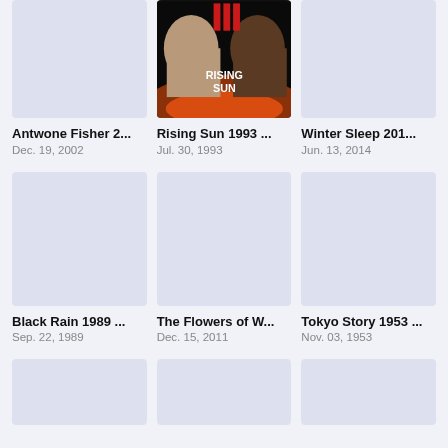[Figure (photo): Movie poster placeholder (light blue-gray rectangle) for Antwone Fisher 2002]
[Figure (photo): Movie poster for Rising Sun 1993 showing two faces and title text RISING SUN]
[Figure (photo): Movie poster placeholder (light blue-gray rectangle) for Winter Sleep 2014]
Antwone Fisher 2...
Dec. 19, 2002
Rising Sun 1993 ...
Jul. 30, 1993
Winter Sleep 201...
Jun. 13, 2014
[Figure (photo): Movie poster placeholder (light blue-gray rectangle) for Black Rain 1989]
[Figure (photo): Movie poster placeholder (light blue-gray rectangle) for The Flowers of W...]
[Figure (photo): Movie poster placeholder (light blue-gray rectangle) for Tokyo Story 1953]
Black Rain 1989 ...
Sep. 22, 1989
The Flowers of W...
Dec. 15, 2011
Tokyo Story 1953 ...
Nov. 03, 1953
[Figure (photo): Movie poster placeholder (light blue-gray rectangle) - partial row bottom]
[Figure (photo): Movie poster placeholder (light blue-gray rectangle) - partial row bottom]
[Figure (photo): Movie poster placeholder (light blue-gray rectangle) - partial row bottom]